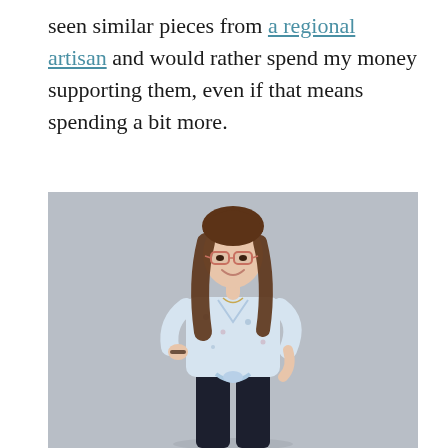seen similar pieces from a regional artisan and would rather spend my money supporting them, even if that means spending a bit more.
[Figure (photo): A young woman with long brown hair and glasses, smiling, wearing a light blue floral blouse tied at the waist and dark jeans, posing with one hand on her hip against a light gray background.]